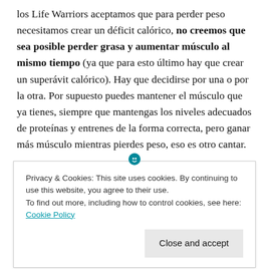los Life Warriors aceptamos que para perder peso necesitamos crear un déficit calórico, no creemos que sea posible perder grasa y aumentar músculo al mismo tiempo (ya que para esto último hay que crear un superávit calórico). Hay que decidirse por una o por la otra. Por supuesto puedes mantener el músculo que ya tienes, siempre que mantengas los niveles adecuados de proteínas y entrenes de la forma correcta, pero ganar más músculo mientras pierdes peso, eso es otro cantar.
Privacy & Cookies: This site uses cookies. By continuing to use this website, you agree to their use.
To find out more, including how to control cookies, see here: Cookie Policy
Close and accept
Gasto | Ingreso